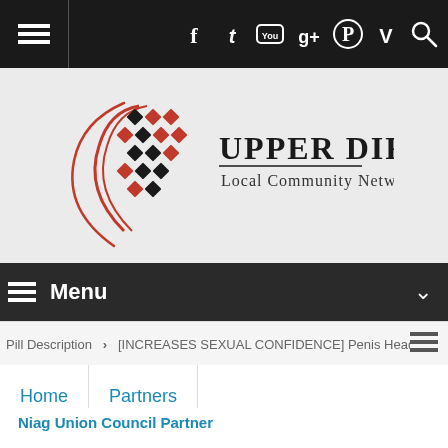Top navigation bar with hamburger menu and social icons: Facebook, Twitter, YouTube, Google+, Pinterest, Vimeo, Search
[Figure (logo): Upper Dir Local Community Network logo — red and black decorative arc with tiled diamonds, text 'UPPER DIR' and 'Local Community Network']
Menu
Pill Description > [INCREASES SEXUAL CONFIDENCE] Penis Head Siz
Home  Partners
Niag Union Council Partner
Posted by admin  |  Date: August 24, 2015  |  (583) Comments